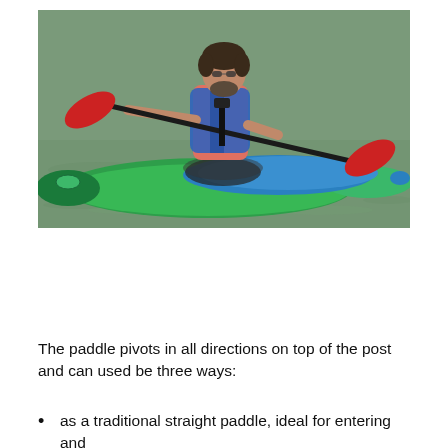[Figure (photo): A man wearing a blue life vest and pink shirt paddling a green and teal kayak on calm water. He holds a double-bladed kayak paddle with red blades, and a camera or accessory is mounted on a post in front of him.]
The paddle pivots in all directions on top of the post and can used be three ways:
as a traditional straight paddle, ideal for entering and